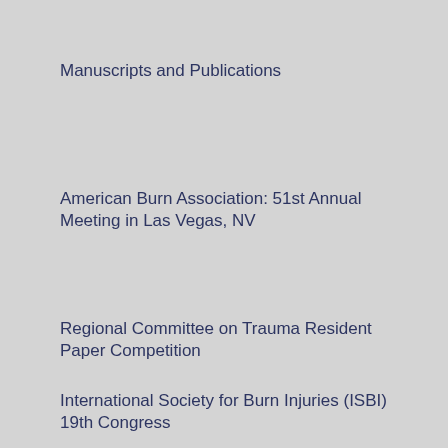Manuscripts and Publications
American Burn Association: 51st Annual Meeting in Las Vegas, NV
Regional Committee on Trauma Resident Paper Competition
International Society for Burn Injuries (ISBI) 19th Congress